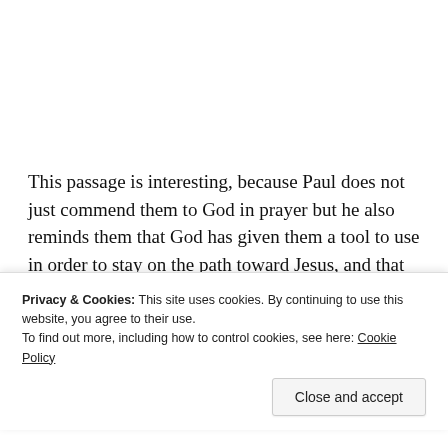This passage is interesting, because Paul does not just commend them to God in prayer but he also reminds them that God has given them a tool to use in order to stay on the path toward Jesus, and that tool, which is also a sword, is the word.
In Romans 10:5–17, Paul states that the word is near us, it is
Privacy & Cookies: This site uses cookies. By continuing to use this website, you agree to their use.
To find out more, including how to control cookies, see here: Cookie Policy